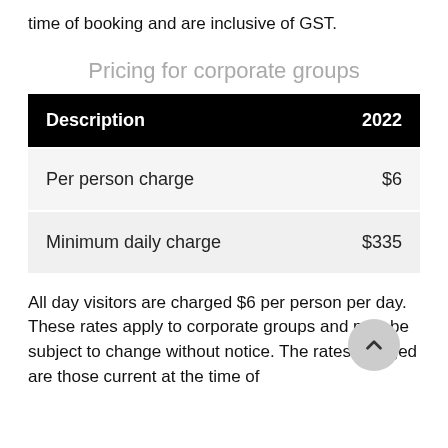time of booking and are inclusive of GST.
Pricing for corporate groups
| Description | 2022 |
| --- | --- |
| Per person charge | $6 |
| Minimum daily charge | $335 |
All day visitors are charged $6 per person per day. These rates apply to corporate groups and may be subject to change without notice. The rates charged are those current at the time of